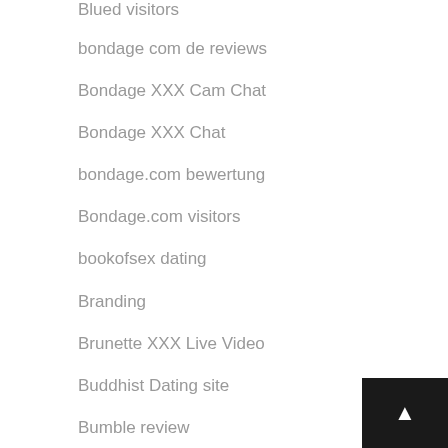Blued visitors
bondage com de reviews
Bondage XXX Cam Chat
Bondage XXX Chat
bondage.com bewertung
Bondage.com visitors
bookofsex dating
Branding
Brunette XXX Live Video
Buddhist Dating site
Bumble review
bumble reviews
Bumble visitors
Bumble visitors (partial)